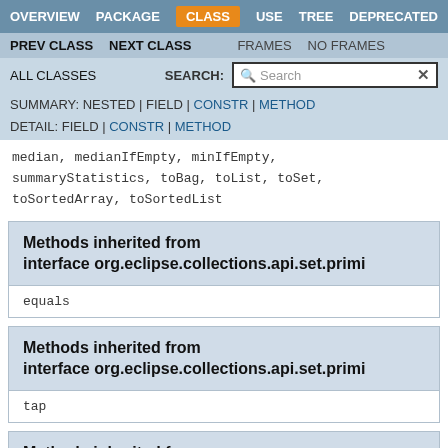OVERVIEW  PACKAGE  CLASS  USE  TREE  DEPRECATED
PREV CLASS  NEXT CLASS  FRAMES  NO FRAMES
ALL CLASSES  SEARCH:
SUMMARY: NESTED | FIELD | CONSTR | METHOD  DETAIL: FIELD | CONSTR | METHOD
median, medianIfEmpty, minIfEmpty,
summaryStatistics, toBag, toList, toSet,
toSortedArray, toSortedList
Methods inherited from interface org.eclipse.collections.api.set.primi
equals
Methods inherited from interface org.eclipse.collections.api.set.primi
tap
Methods inherited from